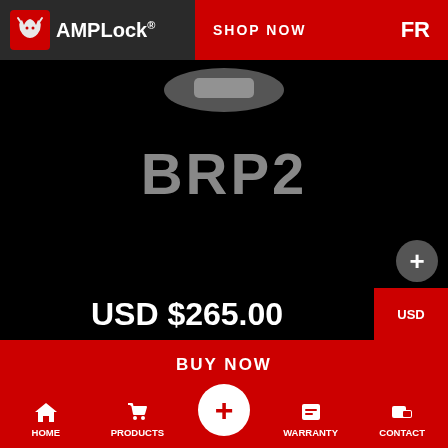AMPLock® SHOP NOW FR
[Figure (photo): Product photo of BRP2 lock on black background with product name 'BRP2' and price 'USD $265.00']
BUY NOW
Click on the coupler you have to find the lock you need
HOME  PRODUCTS  +  WARRANTY  CONTACT